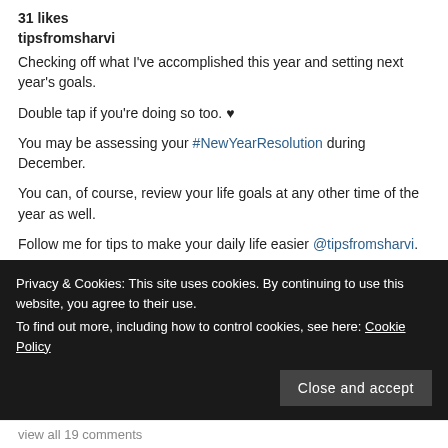31 likes
tipsfromsharvi
Checking off what I've accomplished this year and setting next year's goals.

Double tap if you're doing so too. ♥

You may be assessing your #NewYearResolution during December.

You can, of course, review your life goals at any other time of the year as well.

Follow me for tips to make your daily life easier @tipsfromsharvi.
Privacy & Cookies: This site uses cookies. By continuing to use this website, you agree to their use.
To find out more, including how to control cookies, see here: Cookie Policy
Close and accept
view all 19 comments